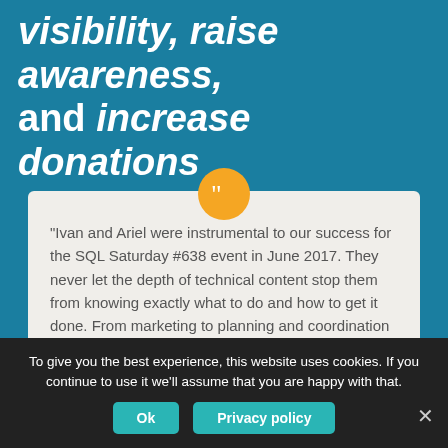visibility, raise awareness, and increase donations
“Ivan and Ariel were instrumental to our success for the SQL Saturday #638 event in June 2017. They never let the depth of technical content stop them from knowing exactly what to do and how to get it done. From marketing to planning and coordination and finally execution, they were at the center of the action and never missed a beat!”
To give you the best experience, this website uses cookies. If you continue to use it we’ll assume that you are happy with that.